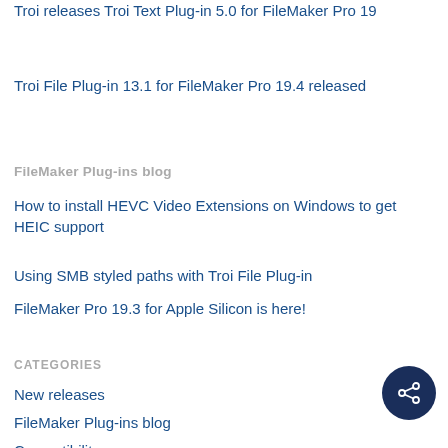Troi releases Troi Text Plug-in 5.0 for FileMaker Pro 19
Troi File Plug-in 13.1 for FileMaker Pro 19.4 released
FileMaker Plug-ins blog
How to install HEVC Video Extensions on Windows to get HEIC support
Using SMB styled paths with Troi File Plug-in
FileMaker Pro 19.3 for Apple Silicon is here!
CATEGORIES
New releases
FileMaker Plug-ins blog
Compatibility